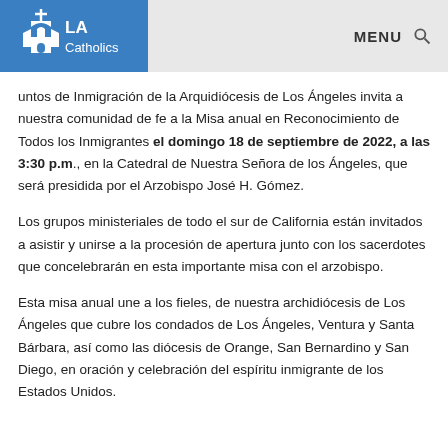[Figure (logo): LA Catholics logo — white church icon with cross on blue background, text 'LA Catholics']
MENU 🔍
untos de Inmigración de la Arquidiócesis de Los Ángeles invita a nuestra comunidad de fe a la Misa anual en Reconocimiento de Todos los Inmigrantes el domingo 18 de septiembre de 2022, a las 3:30 p.m., en la Catedral de Nuestra Señora de los Ángeles, que será presidida por el Arzobispo José H. Gómez.
Los grupos ministeriales de todo el sur de California están invitados a asistir y unirse a la procesión de apertura junto con los sacerdotes que concelebrarán en esta importante misa con el arzobispo.
Esta misa anual une a los fieles, de nuestra archidiócesis de Los Ángeles que cubre los condados de Los Ángeles, Ventura y Santa Bárbara, así como las diócesis de Orange, San Bernardino y San Diego, en oración y celebración del espíritu inmigrante de los Estados Unidos.